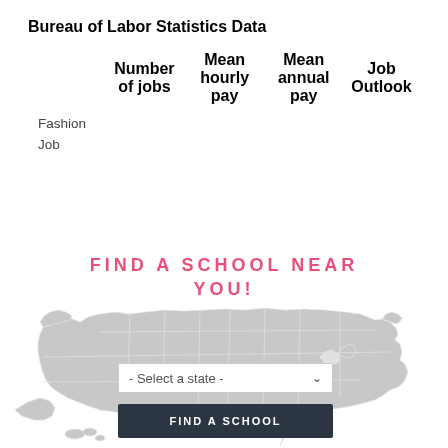Bureau of Labor Statistics Data
|  | Number of jobs | Mean hourly pay | Mean annual pay | Job Outlook |
| --- | --- | --- | --- | --- |
| Fashion Job |  |  |  |  |
FIND A SCHOOL NEAR YOU!
[Figure (map): Outline map of the contiguous United States with state borders, in gray.]
- Select a state -
FIND A SCHOOL